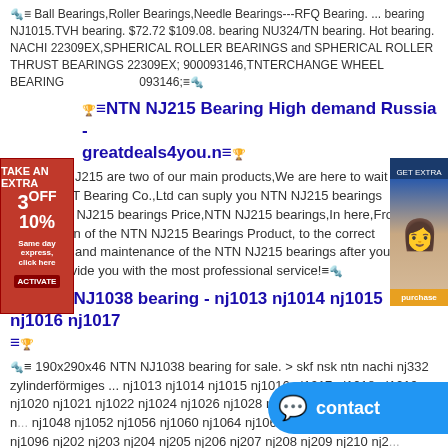🔩≡ Ball Bearings,Roller Bearings,Needle Bearings---RFQ Bearing. ... bearing NJ1015.TVH bearing. $72.72 $109.08. bearing NU324/TN bearing. Hot bearing. NACHI 22309EX,SPHERICAL ROLLER BEARINGS and SPHERICAL ROLLER THRUST BEARINGS 22309EX; 900093146,TNTERCHANGE WHEEL BEARING 900093146;≡🔩
🏆≡NTN NJ215 Bearing High demand Russia - greatdeals4you.n≡🏆
🔩≡ NTN NJ215 are two of our main products,We are here to wait for your inquiry, TOT Bearing Co.,Ltd can suply you NTN NJ215 bearings Stock,NTN NJ215 bearings Price,NTN NJ215 bearings,In here,From your confirmation of the NTN NJ215 Bearings Product, to the correct installation and maintenance of the NTN NJ215 bearings after your order, we will provide you with the most professional service!≡🔩
🏆≡NTN NJ1038 bearing - nj1013 nj1014 nj1015 nj1016 nj1017 ≡🏆
🔩≡ 190x290x46 NTN NJ1038 bearing for sale. > skf nsk ntn nachi nj332 zylinderförmiges ... nj1013 nj1014 nj1015 nj1016 nj1017 nj1018 nj1019 nj1020 nj1021 nj1022 nj1024 nj1026 nj1028 nj1030 nj1032 nj1034 nj1036 n... nj1048 nj1052 nj1056 nj1060 nj1064 nj1068 nj1072 nj1076 n... nj1092 nj1096 nj202 nj203 nj204 nj205 nj206 nj207 nj208 nj209 nj210 nj2...